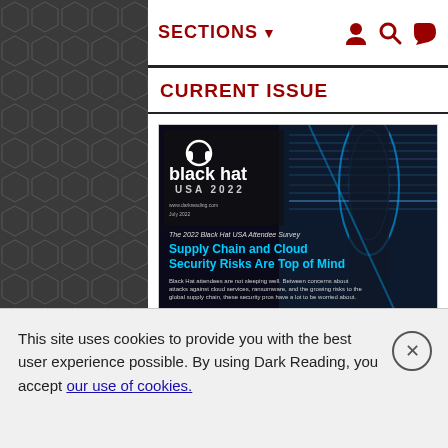SECTIONS
CURRENT ISSUE
[Figure (screenshot): Black Hat USA 2022 magazine cover showing cybersecurity imagery with text 'Supply Chain and Cloud Security Risks Are Top of Mind']
Black Hat USA 2022 Attendee Report
Black Hat attendees are not sleeping well. Between concerns about attacks against cloud services,
This site uses cookies to provide you with the best user experience possible. By using Dark Reading, you accept our use of cookies.